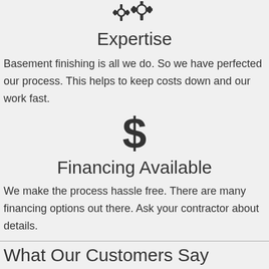[Figure (illustration): Gear/settings icon at the top of the page]
Expertise
Basement finishing is all we do. So we have perfected our process. This helps to keep costs down and our work fast.
[Figure (illustration): Dollar sign ($) icon]
Financing Available
We make the process hassle free. There are many financing options out there. Ask your contractor about details.
What Our Customers Say